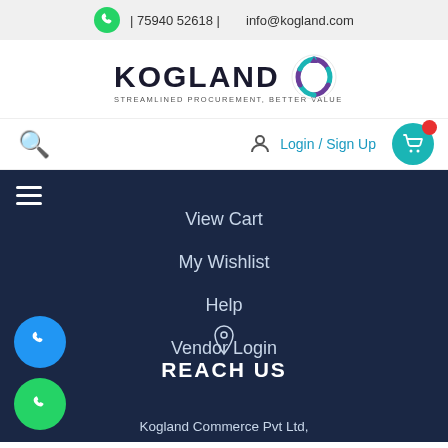| 75940 52618 |    info@kogland.com
[Figure (logo): Kogland logo with circular arrows icon and tagline 'STREAMLINED PROCUREMENT, BETTER VALUE']
Login / Sign Up
View Cart
My Wishlist
Help
Vendor Login
REACH US
Kogland Commerce Pvt Ltd,